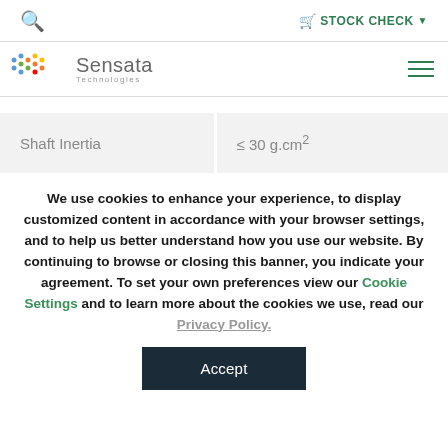🔍   🛒 STOCK CHECK ▾
[Figure (logo): Sensata Technologies logo with colorful dot pattern]
| Property | Value |
| --- | --- |
| Shaft Inertia | ≤ 30 g.cm² |
We use cookies to enhance your experience, to display customized content in accordance with your browser settings, and to help us better understand how you use our website. By continuing to browse or closing this banner, you indicate your agreement. To set your own preferences view our Cookie Settings and to learn more about the cookies we use, read our Privacy Policy.
Accept